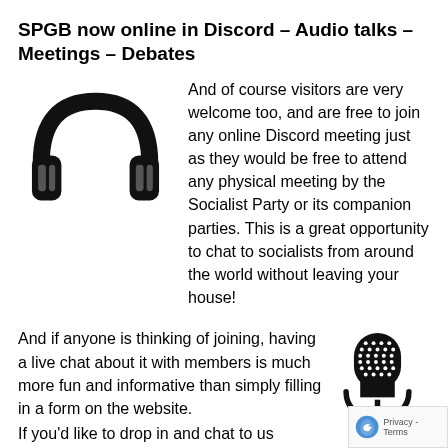SPGB now online in Discord – Audio talks – Meetings – Debates
[Figure (illustration): Black headphones icon]
And of course visitors are very welcome too, and are free to join any online Discord meeting just as they would be free to attend any physical meeting by the Socialist Party or its companion parties. This is a great opportunity to chat to socialists from around the world without leaving your house!
And if anyone is thinking of joining, having a live chat about it with members is much more fun and informative than simply filling in a form on the website.
[Figure (illustration): Black microphone icon]
If you'd like to drop in and chat to us online, or come to one of our talks or other events, just contact Discord for special invite or email spgb@worldsocialism.org